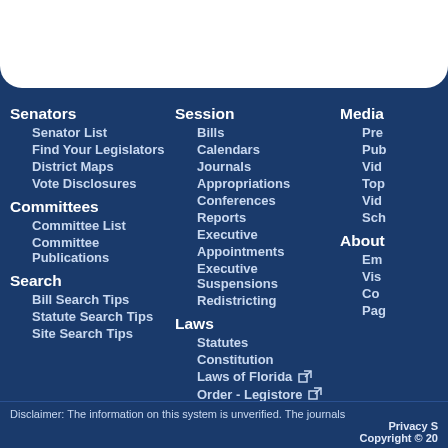Senators
Senator List
Find Your Legislators
District Maps
Vote Disclosures
Committees
Committee List
Committee Publications
Search
Bill Search Tips
Statute Search Tips
Site Search Tips
Session
Bills
Calendars
Journals
Appropriations
Conferences
Reports
Executive Appointments
Executive Suspensions
Redistricting
Laws
Statutes
Constitution
Laws of Florida
Order - Legistore
Media
Pre...
Pub...
Vid...
Top...
Vid...
Sch...
About
Em...
Vis...
Co...
Pag...
Disclaimer: The information on this system is unverified. The journals ...
Privacy S...
Copyright © 20...